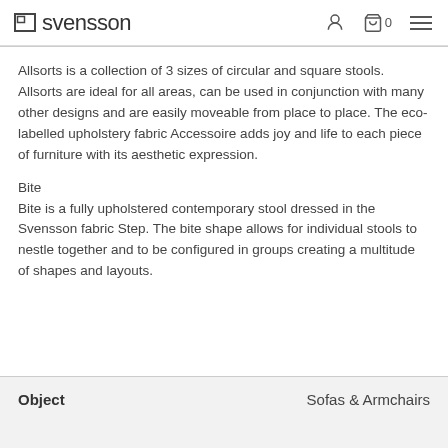svensson  0
Allsorts is a collection of 3 sizes of circular and square stools. Allsorts are ideal for all areas, can be used in conjunction with many other designs and are easily moveable from place to place. The eco-labelled upholstery fabric Accessoire adds joy and life to each piece of furniture with its aesthetic expression.
Bite
Bite is a fully upholstered contemporary stool dressed in the Svensson fabric Step. The bite shape allows for individual stools to nestle together and to be configured in groups creating a multitude of shapes and layouts.
| Object | Sofas & Armchairs |
| --- | --- |